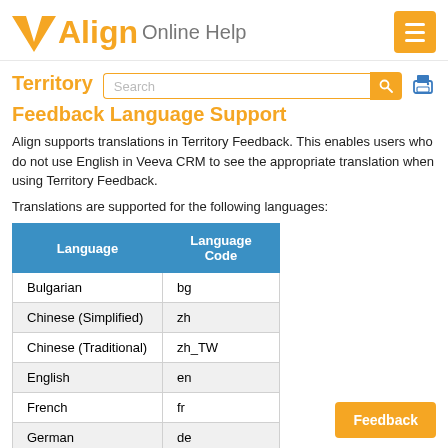VAlign Online Help
Territory Feedback Language Support
Align supports translations in Territory Feedback. This enables users who do not use English in Veeva CRM to see the appropriate translation when using Territory Feedback.
Translations are supported for the following languages:
| Language | Language Code |
| --- | --- |
| Bulgarian | bg |
| Chinese (Simplified) | zh |
| Chinese (Traditional) | zh_TW |
| English | en |
| French | fr |
| German | de |
| Greek | el |